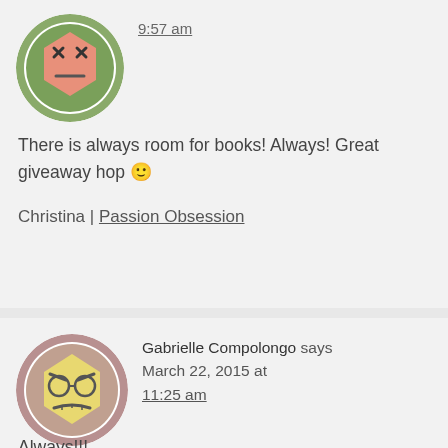[Figure (illustration): Circular avatar with white background showing a cartoon robot/alien face with X eyes on a green background]
9:57 am
There is always room for books! Always! Great giveaway hop 🙂
Christina | Passion Obsession
[Figure (illustration): Circular avatar with mauve/pink background showing a cartoon angry face with glasses]
Gabrielle Compolongo says March 22, 2015 at 11:25 am
Always!!!